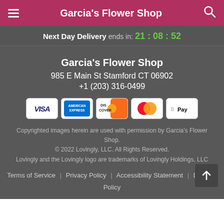Garcia's Flower Shop
Next Day Delivery ends in: 21 : 08 : 52
Garcia's Flower Shop
985 E Main St Stamford CT 06902
+1 (203) 316-0499
[Figure (other): Payment method logos: VISA, American Express, Discover, Mastercard, Apple Pay]
Copyrighted images herein are used with permission by Garcia's Flower Shop.
© 2022 Lovingly, LLC. All Rights Reserved.
Lovingly and the Lovingly logo are trademarks of Lovingly Holdings, LLC
Terms of Service | Privacy Policy | Accessibility Statement | Delivery Policy